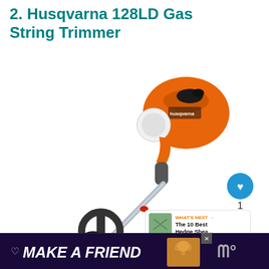2. Husqvarna 128LD Gas String Trimmer
[Figure (photo): Photo of a Husqvarna 128LD gas string trimmer with orange and grey body, shown at an angle with the cutting head at the bottom left and engine at top right. A blue heart/like button and share button are visible on the right side, along with a 'What's Next' panel showing The 10 Best Hedge Shea...]
WHAT'S NEXT → The 10 Best Hedge Shea...
[Figure (infographic): Advertisement banner: dark purple background with white italic bold text 'MAKE A FRIEND', a heart icon, a dog/pet image, and the letter M logo on the right.]